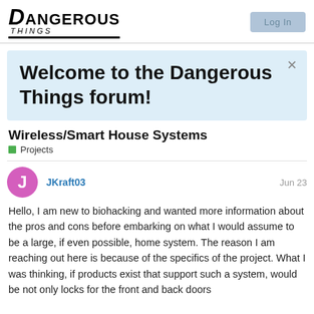Dangerous Things | Log In
Welcome to the Dangerous Things forum!
Wireless/Smart House Systems
Projects
JKraft03  Jun 23
Hello, I am new to biohacking and wanted more information about the pros and cons before embarking on what I would assume to be a large, if even possible, home system. The reason I am reaching out here is because of the specifics of the project. What I was thinking, if products exist that support such a system, would be not only locks for the front and back doors